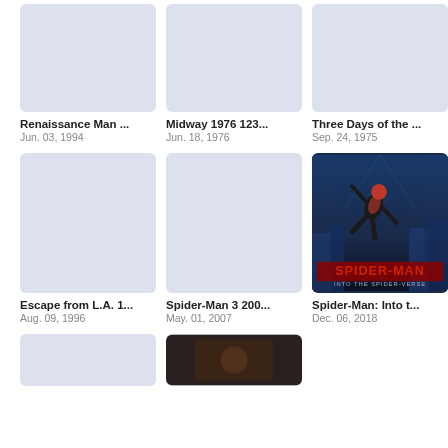[Figure (photo): Movie poster placeholder for Renaissance Man (light blue-gray)]
[Figure (photo): Movie poster placeholder for Midway 1976 (light blue-gray)]
[Figure (photo): Movie poster placeholder for Three Days of the... (light blue-gray)]
Renaissance Man ...
Jun. 03, 1994
Midway 1976 123...
Jun. 18, 1976
Three Days of the ...
Sep. 24, 1975
[Figure (photo): Movie poster placeholder for Escape from L.A. (light blue-gray)]
[Figure (photo): Movie poster placeholder for Spider-Man 3 (light blue-gray)]
[Figure (photo): Spider-Man: Into the Spider-Verse movie poster showing Spider-Man figure against blue background with SPIDER-MAN text]
Escape from L.A. 1...
Aug. 09, 1996
Spider-Man 3 200...
May. 01, 2007
Spider-Man: Into t...
Dec. 06, 2018
[Figure (photo): Movie poster thumbnail partially visible at bottom left]
[Figure (photo): Movie poster thumbnail partially visible at bottom center]